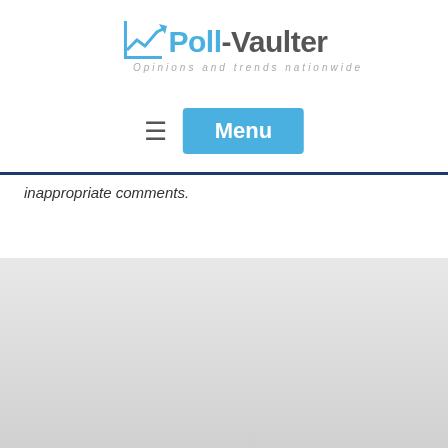[Figure (logo): Poll-Vaulter logo with chart icon, text 'Poll-Vaulter' and tagline 'Opinions and trends nationwide' - header version]
[Figure (other): Navigation bar with hamburger menu icon and blue 'Menu' button]
inappropriate comments.
[Figure (logo): Poll-Vaulter logo large version in footer area with chart icon, text 'Poll-Vaulter' and tagline 'Opinions and trends nationwide']
© 2022 Poll-Vaulter. All Rights Reserved. Web Design and Domain names by web.com